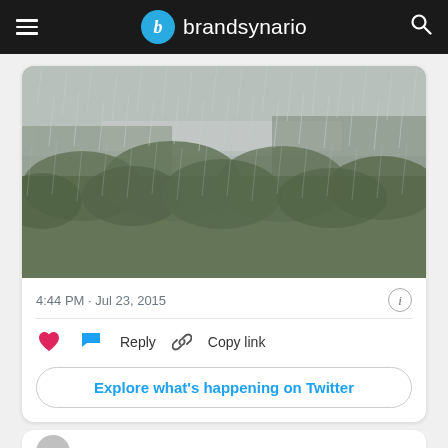brandsynario
[Figure (photo): Rainy scene with heavy rainfall over green bushes/trees and a road visible in misty background]
4:44 PM · Jul 23, 2015
♥  💬 Reply  🔗 Copy link
Explore what's happening on Twitter